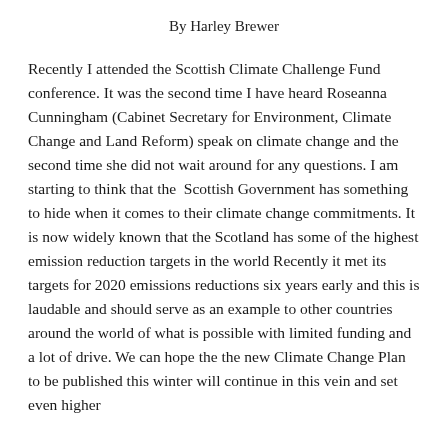By Harley Brewer
Recently I attended the Scottish Climate Challenge Fund conference. It was the second time I have heard Roseanna Cunningham (Cabinet Secretary for Environment, Climate Change and Land Reform) speak on climate change and the second time she did not wait around for any questions. I am starting to think that the  Scottish Government has something to hide when it comes to their climate change commitments. It is now widely known that the Scotland has some of the highest emission reduction targets in the world Recently it met its targets for 2020 emissions reductions six years early and this is laudable and should serve as an example to other countries around the world of what is possible with limited funding and a lot of drive. We can hope the the new Climate Change Plan to be published this winter will continue in this vein and set even higher